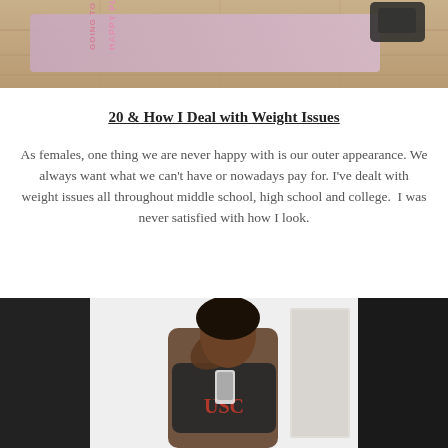[Figure (photo): Photo of a pink yoga mat on a wooden floor with the text 'GOING TO MY HAPPY PLACE' printed on it. A dark bag is visible in the top right corner.]
20 & How I Deal with Weight Issues
As females, one thing we are never happy with is our outer appearance. We always want what we can't have or nowadays pay for. I've dealt with weight issues all throughout middle school, high school and college.  I was never satisfied with how I look.
[Figure (photo): Mirror selfie of a young woman wearing a USC cropped shirt, with her hand raised to her hair, taken in a white room with a door visible in the background.]